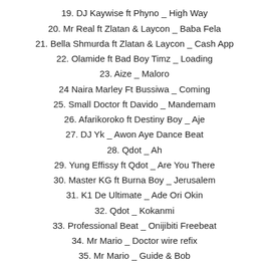19. DJ Kaywise ft Phyno _ High Way
20. Mr Real ft Zlatan & Laycon _ Baba Fela
21. Bella Shmurda ft Zlatan & Laycon _ Cash App
22. Olamide ft Bad Boy Timz _ Loading
23. Aize _ Maloro
24 Naira Marley Ft Bussiwa _ Coming
25. Small Doctor ft Davido _ Mandemam
26. Afarikoroko ft Destiny Boy _ Aje
27. DJ Yk _ Awon Aye Dance Beat
28. Qdot _ Ah
29. Yung Effissy ft Qdot _ Are You There
30. Master KG ft Burna Boy _ Jerusalem
31. K1 De Ultimate _ Ade Ori Okin
32. Qdot _ Kokanmi
33. Professional Beat _ Onijibiti Freebeat
34. Mr Mario _ Doctor wire refix
35. Mr Mario _ Guide & Bob